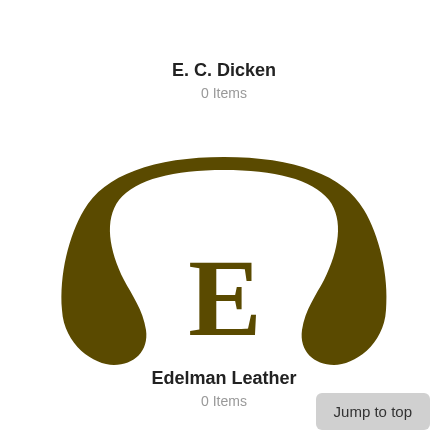E. C. Dicken
0 Items
[Figure (logo): Edelman Leather logo: a large brown horseshoe/arch shape with a stylized letter E in the center, rendered in dark olive/brown color]
Edelman Leather
0 Items
Jump to top